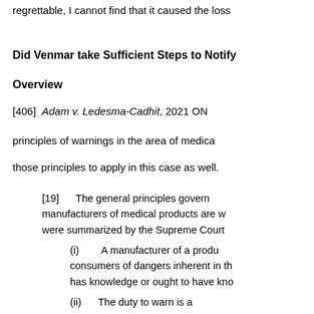regrettable, I cannot find that it caused the loss
Did Venmar take Sufficient Steps to Notify
Overview
[406] Adam v. Ledesma-Cadhit, 2021 ON
principles of warnings in the area of medica
those principles to apply in this case as well.
[19]      The general principles govern manufacturers of medical products are w were summarized by the Supreme Court
(i)       A manufacturer of a produ consumers of dangers inherent in th has knowledge or ought to have kno
(ii)      The duty to warn is a